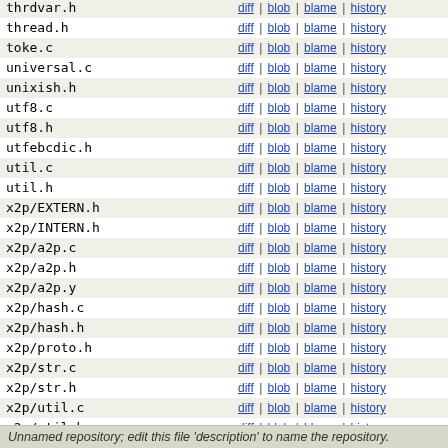| filename | links |
| --- | --- |
| thrdvar.h | diff | blob | blame | history |
| thread.h | diff | blob | blame | history |
| toke.c | diff | blob | blame | history |
| universal.c | diff | blob | blame | history |
| unixish.h | diff | blob | blame | history |
| utf8.c | diff | blob | blame | history |
| utf8.h | diff | blob | blame | history |
| utfebcdic.h | diff | blob | blame | history |
| util.c | diff | blob | blame | history |
| util.h | diff | blob | blame | history |
| x2p/EXTERN.h | diff | blob | blame | history |
| x2p/INTERN.h | diff | blob | blame | history |
| x2p/a2p.c | diff | blob | blame | history |
| x2p/a2p.h | diff | blob | blame | history |
| x2p/a2p.y | diff | blob | blame | history |
| x2p/hash.c | diff | blob | blame | history |
| x2p/hash.h | diff | blob | blame | history |
| x2p/proto.h | diff | blob | blame | history |
| x2p/str.c | diff | blob | blame | history |
| x2p/str.h | diff | blob | blame | history |
| x2p/util.c | diff | blob | blame | history |
| x2p/util.h | diff | blob | blame | history |
| x2p/walk.c | diff | blob | blame | history |
| xsutils.c | diff | blob | blame | history |
Unnamed repository; edit this file 'description' to name the repository.